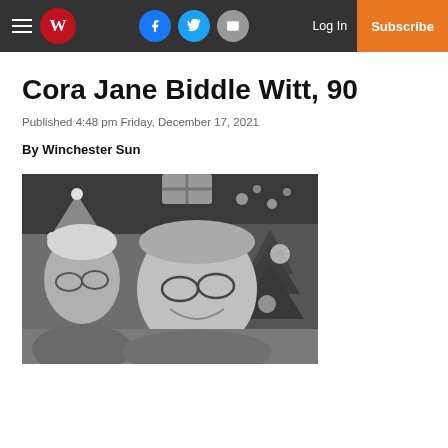Winchester Sun navigation bar with hamburger menu, W logo, Facebook, Twitter, Email social icons, Log In, Subscribe
Cora Jane Biddle Witt, 90
Published 4:48 pm Friday, December 17, 2021
By Winchester Sun
[Figure (photo): Black and white photo of two elderly people smiling close together, Christmas decorations including a tree with ornaments and snowflake decoration visible in background. Person on left wearing Santa hat.]